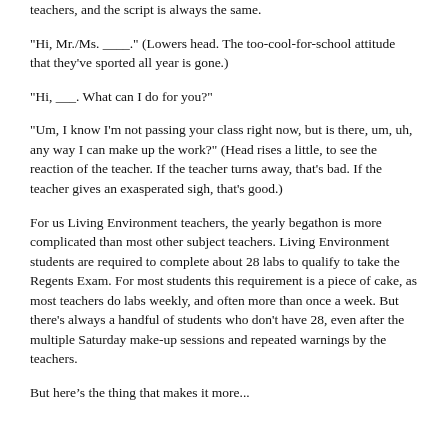teachers, and the script is always the same.
"Hi, Mr./Ms. ____." (Lowers head. The too-cool-for-school attitude that they've sported all year is gone.)
"Hi, ___. What can I do for you?"
"Um, I know I'm not passing your class right now, but is there, um, uh, any way I can make up the work?" (Head rises a little, to see the reaction of the teacher. If the teacher turns away, that's bad. If the teacher gives an exasperated sigh, that's good.)
For us Living Environment teachers, the yearly begathon is more complicated than most other subject teachers. Living Environment students are required to complete about 28 labs to qualify to take the Regents Exam. For most students this requirement is a piece of cake, as most teachers do labs weekly, and often more than once a week. But there's always a handful of students who don't have 28, even after the multiple Saturday make-up sessions and repeated warnings by the teachers.
But here's the thing that makes it more...